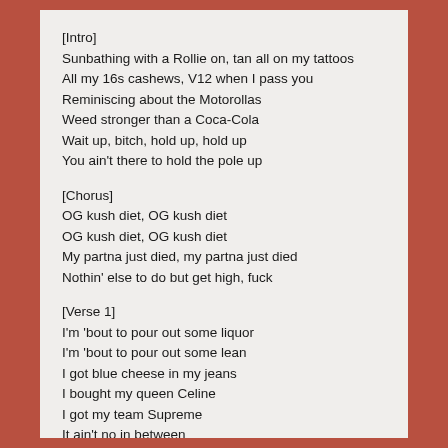[Intro]
Sunbathing with a Rollie on, tan all on my tattoos
All my 16s cashews, V12 when I pass you
Reminiscing about the Motorollas
Weed stronger than a Coca-Cola
Wait up, bitch, hold up, hold up
You ain't there to hold the pole up
[Chorus]
OG kush diet, OG kush diet
OG kush diet, OG kush diet
My partna just died, my partna just died
Nothin' else to do but get high, fuck
[Verse 1]
I'm 'bout to pour out some liquor
I'm 'bout to pour out some lean
I got blue cheese in my jeans
I bought my queen Celine
I got my team Supreme
It ain't no in between
You either in or you out, I took a different route
Hard to figure it out, bout to pick in the...